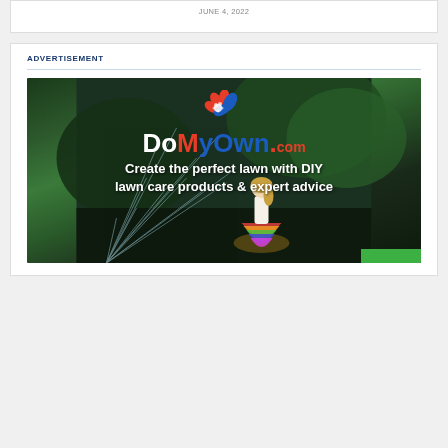JUNE 4, 2022
ADVERTISEMENT
[Figure (photo): DoMyOwn.com advertisement banner featuring a young girl playing with a lawn sprinkler in a green garden, with the DoMyOwn logo and tagline 'Create the perfect lawn with DIY lawn care products & expert advice']